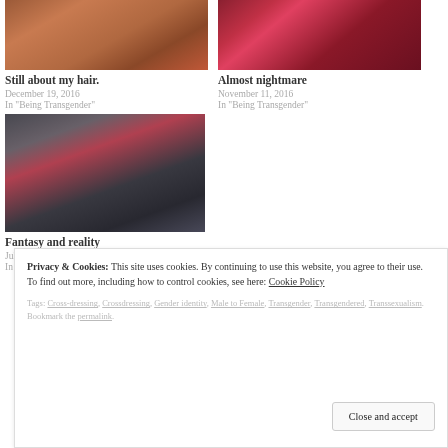[Figure (photo): Thumbnail photo of a person with glasses and red top looking down, hair visible]
Still about my hair.
December 19, 2016
In "Being Transgender"
[Figure (photo): Thumbnail photo showing a red top/dress with patterned background]
Almost nightmare
November 11, 2016
In "Being Transgender"
[Figure (photo): Thumbnail photo of a person with dark hair wearing a dark jacket with red underneath, selfie style]
Fantasy and reality
July 20, 2015
In "Crossdressing"
Privacy & Cookies: This site uses cookies. By continuing to use this website, you agree to their use.
To find out more, including how to control cookies, see here: Cookie Policy
Tags: Cross-dressing, Crossdressing, Gender identity, Male to Female, Transgender, Transgendered, Transsexualism. Bookmark the permalink.
Close and accept